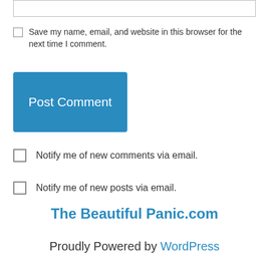[Figure (screenshot): Empty text input box with thin gray border at the top of the page]
Save my name, email, and website in this browser for the next time I comment.
Post Comment
Notify me of new comments via email.
Notify me of new posts via email.
The Beautiful Panic.com
Proudly Powered by WordPress